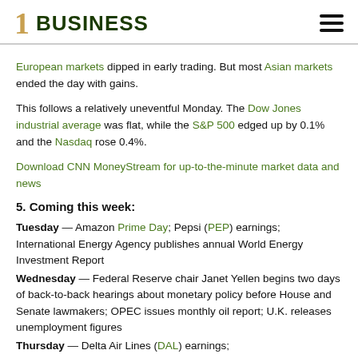1 BUSINESS
European markets dipped in early trading. But most Asian markets ended the day with gains.
This follows a relatively uneventful Monday. The Dow Jones industrial average was flat, while the S&P 500 edged up by 0.1% and the Nasdaq rose 0.4%.
Download CNN MoneyStream for up-to-the-minute market data and news
5. Coming this week:
Tuesday — Amazon Prime Day; Pepsi (PEP) earnings; International Energy Agency publishes annual World Energy Investment Report
Wednesday — Federal Reserve chair Janet Yellen begins two days of back-to-back hearings about monetary policy before House and Senate lawmakers; OPEC issues monthly oil report; U.K. releases unemployment figures
Thursday — Delta Air Lines (DAL) earnings;